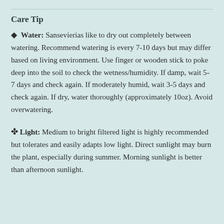Care Tip
💧 Water: Sansevierias like to dry out completely between watering. Recommend watering is every 7-10 days but may differ based on living environment. Use finger or wooden stick to poke deep into the soil to check the wetness/humidity. If damp, wait 5-7 days and check again. If moderately humid, wait 3-5 days and check again. If dry, water thoroughly (approximately 10oz). Avoid overwatering.
✳ Light: Medium to bright filtered light is highly recommended but tolerates and easily adapts low light. Direct sunlight may burn the plant, especially during summer. Morning sunlight is better than afternoon sunlight.